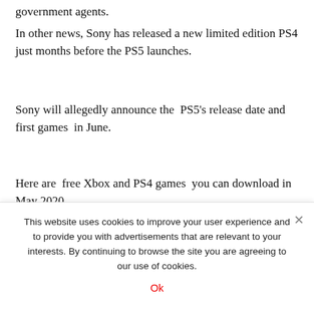government agents.
In other news, Sony has released a new limited edition PS4 just months before the PS5 launches.
Sony will allegedly announce the PS5's release date and first games in June.
Here are free Xbox and PS4 games you can download in May 2020.
…
This website uses cookies to improve your user experience and to provide you with advertisements that are relevant to your interests. By continuing to browse the site you are agreeing to our use of cookies.
Ok